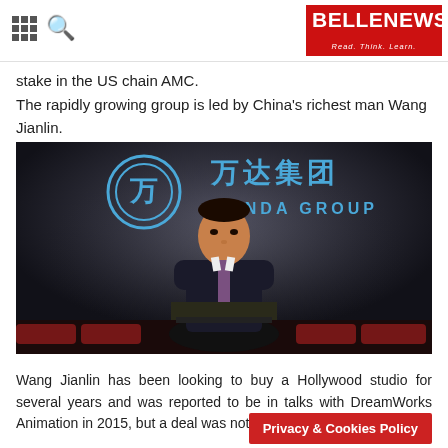BELLENEWS — Read. Think. Learn.
stake in the US chain AMC.
The rapidly growing group is led by China's richest man Wang Jianlin.
[Figure (photo): Wang Jianlin standing at a podium in front of a Wanda Group backdrop showing the Chinese characters 万达集团 and WANDA GROUP logo in a dark presentation room.]
Wang Jianlin has been looking to buy a Hollywood studio for several years and was reported to be in talks with DreamWorks Animation in 2015, but a deal was not announced.
Privacy & Cookies Policy